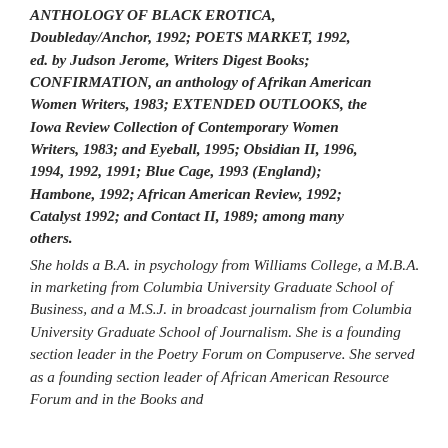ANTHOLOGY OF BLACK EROTICA, Doubleday/Anchor, 1992; POETS MARKET, 1992, ed. by Judson Jerome, Writers Digest Books; CONFIRMATION, an anthology of Afrikan American Women Writers, 1983; EXTENDED OUTLOOKS, the Iowa Review Collection of Contemporary Women Writers, 1983; and Eyeball, 1995; Obsidian II, 1996, 1994, 1992, 1991; Blue Cage, 1993 (England); Hambone, 1992; African American Review, 1992; Catalyst 1992; and Contact II, 1989; among many others.
She holds a B.A. in psychology from Williams College, a M.B.A. in marketing from Columbia University Graduate School of Business, and a M.S.J. in broadcast journalism from Columbia University Graduate School of Journalism. She is a founding section leader in the Poetry Forum on Compuserve. She served as a founding section leader of African American Resource Forum and in the Books and